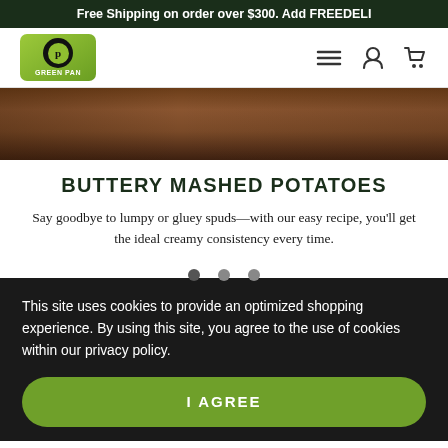Free Shipping on order over $300. Add FREEDELI
[Figure (logo): GreenPan logo — green pan brand mark with circle and pan icon]
[Figure (photo): Close-up photo of a dark wooden spoon or cookware, brown tones, top portion cropped]
BUTTERY MASHED POTATOES
Say goodbye to lumpy or gluey spuds—with our easy recipe, you'll get the ideal creamy consistency every time.
This site uses cookies to provide an optimized shopping experience. By using this site, you agree to the use of cookies within our privacy policy.
I AGREE